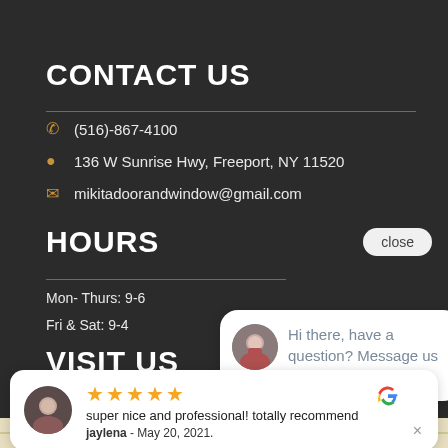CONTACT US
(516)-867-4100
136 W Sunrise Hwy, Freeport, NY 11520
mikitadoorandwindow@gmail.com
HOURS
Mon- Thurs: 9-6
Fri & Sat: 9-4
VISIT US
[Figure (screenshot): Chat bubble overlay with avatar photo of a woman and text: Hi there, have a question? Message us here!]
[Figure (screenshot): Google review card with 5-star rating, text 'super nice and professional! totally recommend', reviewer name 'jaylena', date 'May 20, 2021', and Google logo. Close button (x) at bottom right.]
[Figure (map): Bottom strip showing top portion of a map (Google Maps).]